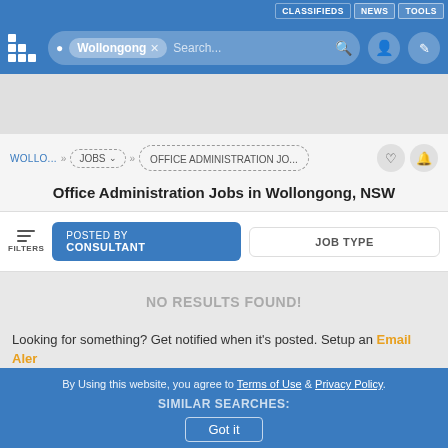CLASSIFIEDS | NEWS | TOOLS
[Figure (screenshot): Search bar with Wollongong location pill and search input]
[Figure (infographic): Advertisement placeholder area]
WOLLO... > JOBS > OFFICE ADMINISTRATION JO...
Office Administration Jobs in Wollongong, NSW
FILTERS | POSTED BY CONSULTANT | JOB TYPE
NO RESULTS FOUND!
Looking for something? Get notified when it's posted. Setup an Email Alert
By Using this website, you agree to Terms of Use & Privacy Policy. SIMILAR SEARCHES: Got it